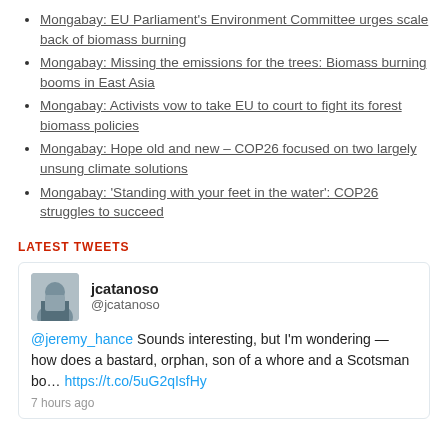Mongabay: EU Parliament's Environment Committee urges scale back of biomass burning
Mongabay: Missing the emissions for the trees: Biomass burning booms in East Asia
Mongabay: Activists vow to take EU to court to fight its forest biomass policies
Mongabay: Hope old and new – COP26 focused on two largely unsung climate solutions
Mongabay: 'Standing with your feet in the water': COP26 struggles to succeed
LATEST TWEETS
jcatanoso @jcatanoso @jeremy_hance Sounds interesting, but I'm wondering — how does a bastard, orphan, son of a whore and a Scotsman bo… https://t.co/5uG2qIsfHy 7 hours ago